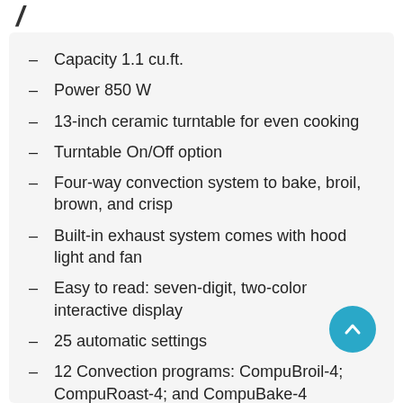Capacity 1.1 cu.ft.
Power 850 W
13-inch ceramic turntable for even cooking
Turntable On/Off option
Four-way convection system to bake, broil, brown, and crisp
Built-in exhaust system comes with hood light and fan
Easy to read: seven-digit, two-color interactive display
25 automatic settings
12 Convection programs: CompuBroil-4; CompuRoast-4; and CompuBake-4
Smart and easy sensor settings that